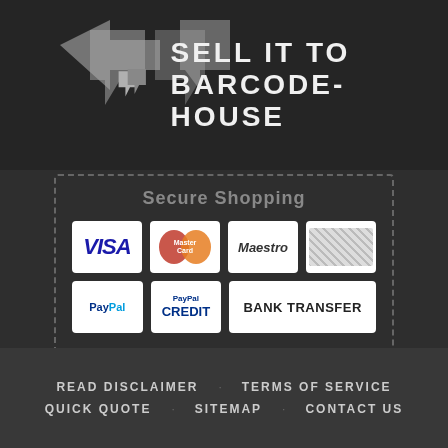[Figure (illustration): Dark background banner with speech bubble arrow icons and bold white text reading SELL IT TO BARCODE-HOUSE]
[Figure (infographic): Secure Shopping payment methods box with dashed border, showing VISA, MasterCard, Maestro, American Express, PayPal, PayPal Credit, Bank Transfer logos]
READ DISCLAIMER   TERMS OF SERVICE   QUICK QUOTE   SITEMAP   CONTACT US